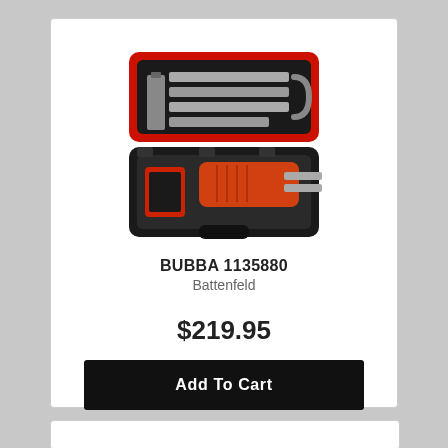[Figure (photo): A Bubba electric fillet knife kit in an open red and black hard case, showing several blade attachments in the top lid and the electric knife handle with an orange/red grip in the bottom compartment.]
BUBBA 1135880
Battenfeld
$219.95
Add To Cart